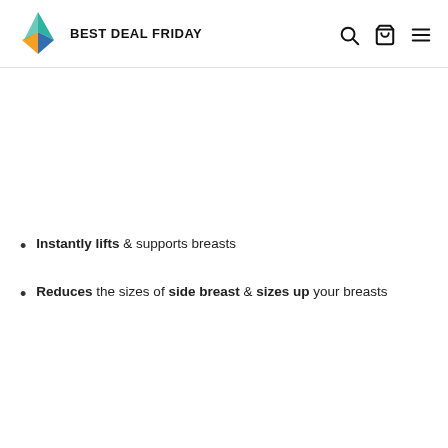BEST DEAL FRIDAY
Instantly lifts & supports breasts
Reduces the sizes of side breast & sizes up your breasts